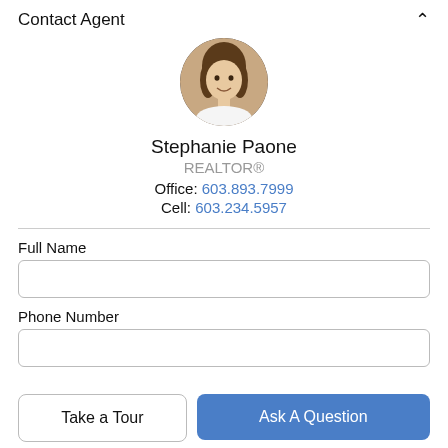Contact Agent
[Figure (photo): Circular headshot photo of Stephanie Paone, a woman with blonde hair, smiling]
Stephanie Paone
REALTOR®
Office: 603.893.7999
Cell: 603.234.5957
Full Name
Phone Number
Take a Tour
Ask A Question